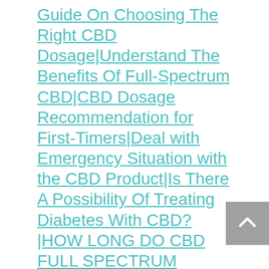Guide On Choosing The Right CBD Dosage|Understand The Benefits Of Full-Spectrum CBD|CBD Dosage Recommendation for First-Timers|Deal with Emergency Situation with the CBD Product|Is There A Possibility Of Treating Diabetes With CBD?|HOW LONG DO CBD FULL SPECTRUM TINCTURES STAY IN THE BODY?|How CBD And Keto Diet Work Synergistically? |Experience The Most Ultimate Benefits Of CBD Oil For Pets|CBD for pets |Few Interesting Facts About CBD|Safe Smoking With Quality Vaporizer And Glass Smoking Pipes|Does CBD oil help with Psoriasis?|How should I store Vegan CBD Gummies?|Extreme benefits of using